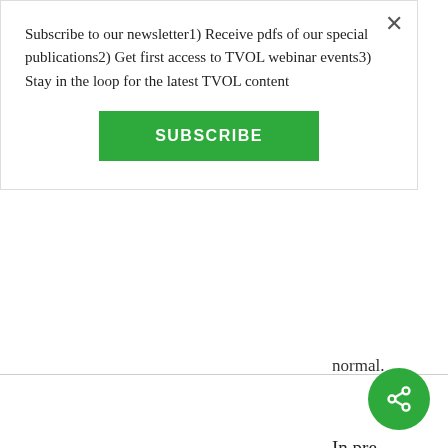Subscribe to our newsletter1) Receive pdfs of our special publications2) Get first access to TVOL webinar events3) Stay in the loop for the latest TVOL content
SUBSCRIBE
normal.
In pre-
modern
communities
"spending
time"
with
others